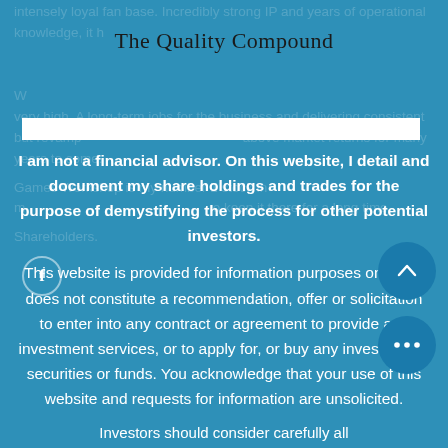The Quality Compound
intensely loyal fan base. Incredibly strong IP and years of operational knowledge, it h...
I am not a financial advisor. On this website, I detail and document my share holdings and trades for the purpose of demystifying the process for other potential investors.

This website is provided for information purposes only and does not constitute a recommendation, offer or solicitation to enter into any contract or agreement to provide any investment services, or to apply for, or buy any investments, securities or funds. You acknowledge that your use of this website and requests for information are unsolicited.
Investors should consider carefully all